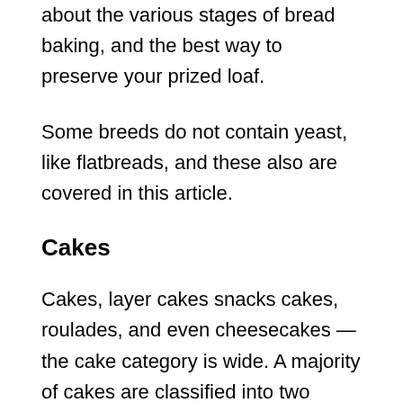about the various stages of bread baking, and the best way to preserve your prized loaf.
Some breeds do not contain yeast, like flatbreads, and these also are covered in this article.
Cakes
Cakes, layer cakes snacks cakes, roulades, and even cheesecakes — the cake category is wide. A majority of cakes are classified into two types: whether they are made with fats such as oils or butter (shortened cakes) or if they have only a